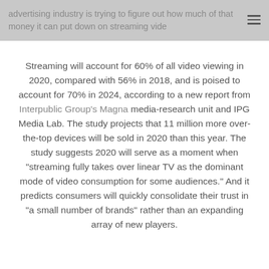advertising industry is trying to figure out how much of that money it can put down on streaming video
Streaming will account for 60% of all video viewing in 2020, compared with 56% in 2018, and is poised to account for 70% in 2024, according to a new report from Interpublic Group's Magna media-research unit and IPG Media Lab. The study projects that 11 million more over-the-top devices will be sold in 2020 than this year. The study suggests 2020 will serve as a moment when “streaming fully takes over linear TV as the dominant mode of video consumption for some audiences.” And it predicts consumers will quickly consolidate their trust in “a small number of brands” rather than an expanding array of new players.